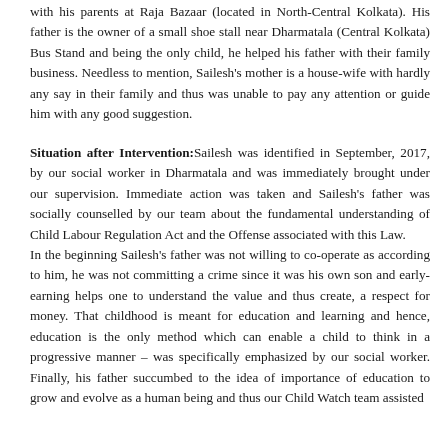with his parents at Raja Bazaar (located in North-Central Kolkata). His father is the owner of a small shoe stall near Dharmatala (Central Kolkata) Bus Stand and being the only child, he helped his father with their family business. Needless to mention, Sailesh's mother is a house-wife with hardly any say in their family and thus was unable to pay any attention or guide him with any good suggestion.
Situation after Intervention: Sailesh was identified in September, 2017, by our social worker in Dharmatala and was immediately brought under our supervision. Immediate action was taken and Sailesh's father was socially counselled by our team about the fundamental understanding of Child Labour Regulation Act and the Offense associated with this Law. In the beginning Sailesh's father was not willing to co-operate as according to him, he was not committing a crime since it was his own son and early-earning helps one to understand the value and thus create, a respect for money. That childhood is meant for education and learning and hence, education is the only method which can enable a child to think in a progressive manner – was specifically emphasized by our social worker. Finally, his father succumbed to the idea of importance of education to grow and evolve as a human being and thus our Child Watch team assisted